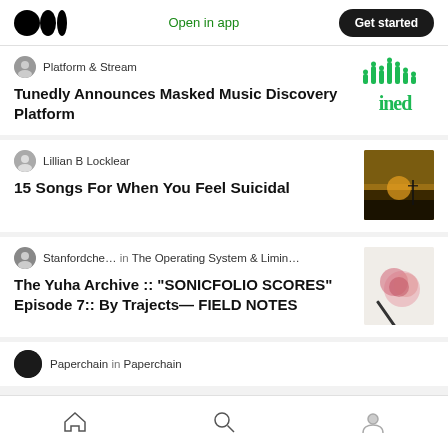Medium app header with logo, Open in app, Get started
Platform & Stream
Tunedly Announces Masked Music Discovery Platform
Lillian B Locklear
15 Songs For When You Feel Suicidal
Stanfordche... in The Operating System & Limin...
The Yuha Archive :: “SONICFOLIO SCORES” Episode 7:: By Trajects— FIELD NOTES
Paperchain in Paperchain
Home | Search | Profile navigation